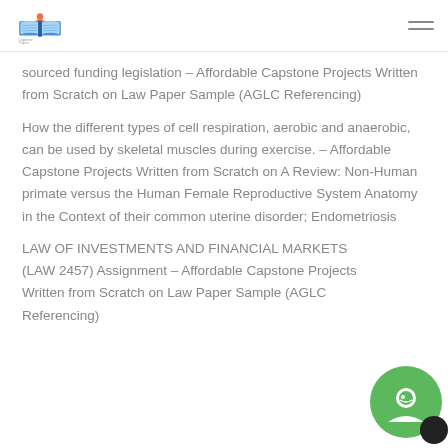Capstone Project Writers logo and navigation
sourced funding legislation – Affordable Capstone Projects Written from Scratch on Law Paper Sample (AGLC Referencing)
How the different types of cell respiration, aerobic and anaerobic, can be used by skeletal muscles during exercise. – Affordable Capstone Projects Written from Scratch on A Review: Non-Human primate versus the Human Female Reproductive System Anatomy in the Context of their common uterine disorder; Endometriosis
LAW OF INVESTMENTS AND FINANCIAL MARKETS (LAW 2457) Assignment – Affordable Capstone Projects Written from Scratch on Law Paper Sample (AGLC Referencing)